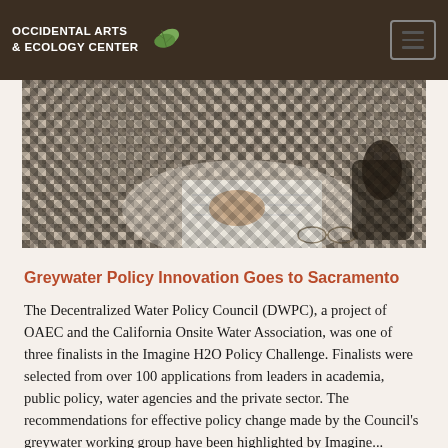Occidental Arts & Ecology Center
[Figure (photo): Photo of a person wearing a houndstooth-patterned jacket writing in a notebook at a table, with another person visible in the background also handling papers]
Greywater Policy Innovation Goes to Sacramento
The Decentralized Water Policy Council (DWPC), a project of OAEC and the California Onsite Water Association, was one of three finalists in the Imagine H2O Policy Challenge. Finalists were selected from over 100 applications from leaders in academia, public policy, water agencies and the private sector. The recommendations for effective policy change made by the Council's greywater working group have been highlighted by Imagine...